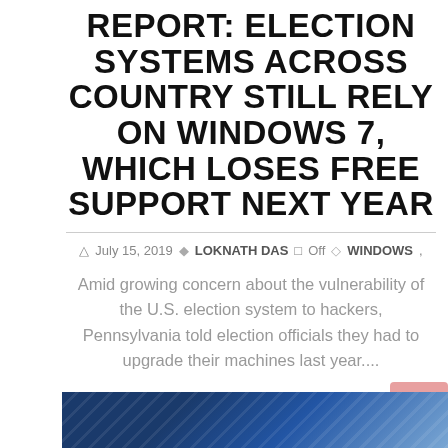REPORT: ELECTION SYSTEMS ACROSS COUNTRY STILL RELY ON WINDOWS 7, WHICH LOSES FREE SUPPORT NEXT YEAR
July 15, 2019  LOKNATH DAS  Off  WINDOWS,
Amid growing concern about the vulnerability of the U.S. election system to hackers, Pennsylvania told election officials they had to upgrade their machines last year....
Read more